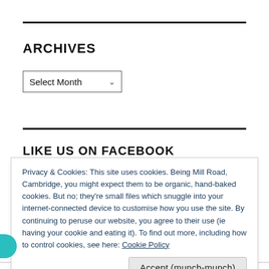ARCHIVES
Select Month
LIKE US ON FACEBOOK
Privacy & Cookies: This site uses cookies. Being Mill Road, Cambridge, you might expect them to be organic, hand-baked cookies. But no; they're small files which snuggle into your internet-connected device to customise how you use the site. By continuing to peruse our website, you agree to their use (ie having your cookie and eating it). To find out more, including how to control cookies, see here: Cookie Policy
Accept (munch-munch)